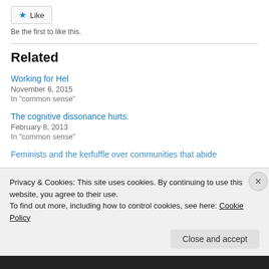[Figure (other): Like button with star icon]
Be the first to like this.
Related
Working for Hel
November 6, 2015
In "common sense"
The cognitive dissonance hurts.
February 8, 2013
In "common sense"
Feminists and the kerfuffle over communities that abide
Privacy & Cookies: This site uses cookies. By continuing to use this website, you agree to their use.
To find out more, including how to control cookies, see here: Cookie Policy